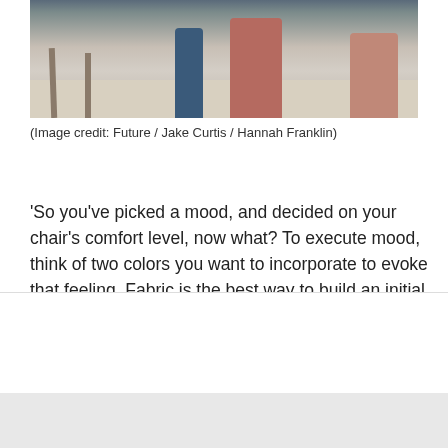[Figure (photo): Interior design photo showing furniture legs, blue and pink/terracotta cylindrical stools or pedestals on a light cream rug with a neutral background]
(Image credit: Future / Jake Curtis / Hannah Franklin)
'So you've picked a mood, and decided on your chair's comfort level, now what? To execute mood, think of two colors you want to incorporate to evoke that feeling. Fabric is the best way to build an initial color story, but you could gather paint chips or objects too. Even if the room has no fabric, people respond well to tactile colors, physical materials that you can use as